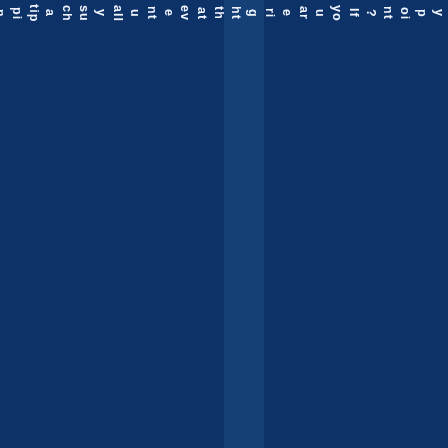ing my point? If you are right that eventually such a tipping